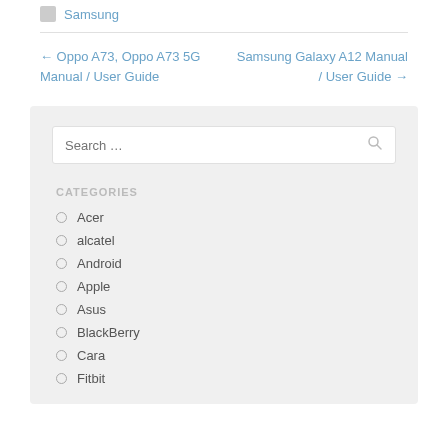Samsung
← Oppo A73, Oppo A73 5G Manual / User Guide
Samsung Galaxy A12 Manual / User Guide →
Search …
CATEGORIES
Acer
alcatel
Android
Apple
Asus
BlackBerry
Cara
Fitbit